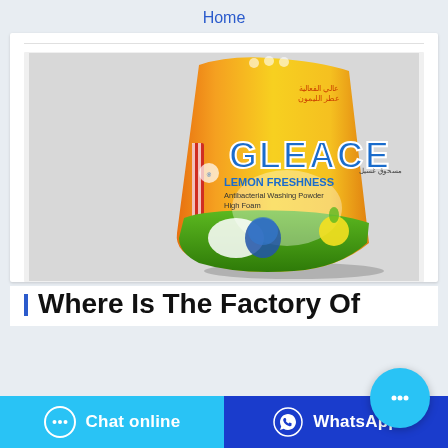Home
[Figure (photo): A yellow and orange bag of GLEACE Lemon Freshness Antibacterial Washing Powder, High Foam, photographed at an angle on a light grey background.]
Where Is The Factory Of
Chat online
WhatsApp